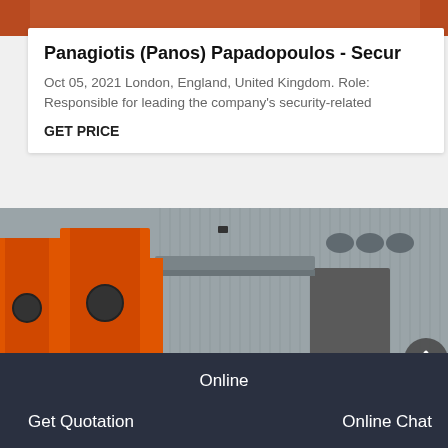[Figure (photo): Top portion of an orange industrial machine photo, partially cropped]
Panagiotis (Panos) Papadopoulos - Secur
Oct 05, 2021 London, England, United Kingdom. Role: Responsible for leading the company's security-related
GET PRICE
[Figure (photo): Industrial facility with large orange machines (industrial equipment/crushers or separators) in front of a corrugated metal building. A scroll-to-top button is visible in the bottom right.]
Online   Get Quotation   Online Chat